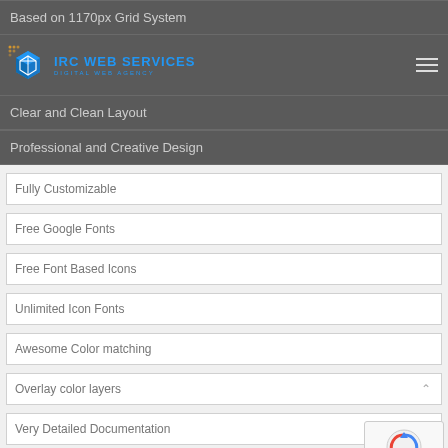Based on 1170px Grid System
IRC WEB SERVICES — DIGITAL WEB AGENCY
Professional and Creative Design
Fully Customizable
Free Google Fonts
Free Font Based Icons
Unlimited Icon Fonts
Awesome Color matching
Overlay color layers
Very Detailed Documentation
flaticon